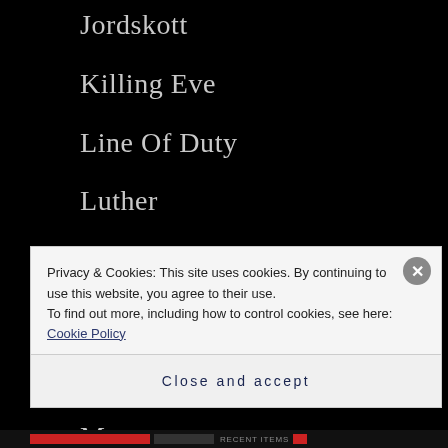Jordskott
Killing Eve
Line Of Duty
Luther
Maigret
Marcella
Mindhunter
Morse
Privacy & Cookies: This site uses cookies. By continuing to use this website, you agree to their use.
To find out more, including how to control cookies, see here: Cookie Policy
Close and accept